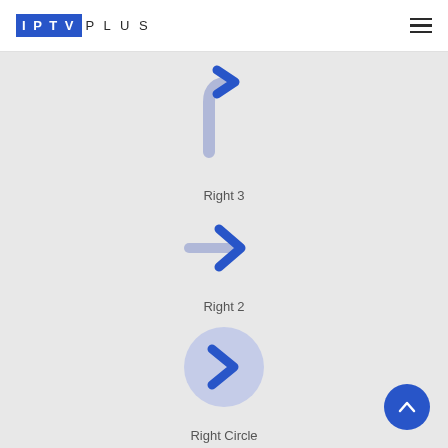[Figure (logo): IPTV PLUS logo in header]
[Figure (illustration): Right-turn arrow icon (Right 3) - blue curved arrow pointing right-down then right-up]
Right 3
[Figure (illustration): Right arrow icon (Right 2) - blue chevron arrow pointing right with horizontal tail]
Right 2
[Figure (illustration): Right circle icon (Right Circle) - light blue circle with blue chevron arrow inside]
Right Circle